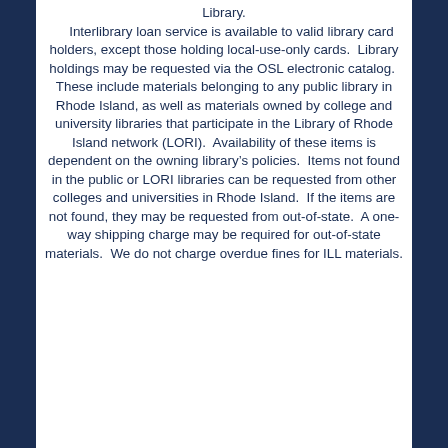Library. Interlibrary loan service is available to valid library card holders, except those holding local-use-only cards.  Library holdings may be requested via the OSL electronic catalog.  These include materials belonging to any public library in Rhode Island, as well as materials owned by college and university libraries that participate in the Library of Rhode Island network (LORI).  Availability of these items is dependent on the owning library's policies.  Items not found in the public or LORI libraries can be requested from other colleges and universities in Rhode Island.  If the items are not found, they may be requested from out-of-state.  A one-way shipping charge may be required for out-of-state materials.  We do not charge overdue fines for ILL materials.